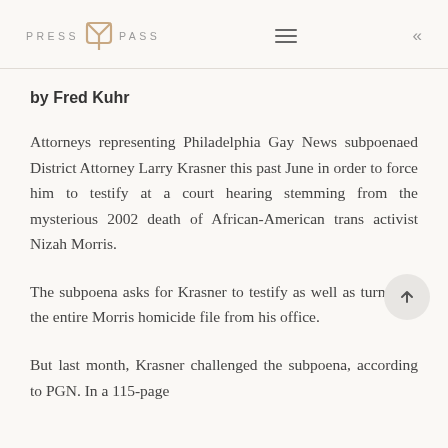PRESS PASS
by Fred Kuhr
Attorneys representing Philadelphia Gay News subpoenaed District Attorney Larry Krasner this past June in order to force him to testify at a court hearing stemming from the mysterious 2002 death of African-American trans activist Nizah Morris.
The subpoena asks for Krasner to testify as well as turn over the entire Morris homicide file from his office.
But last month, Krasner challenged the subpoena, according to PGN. In a 115-page